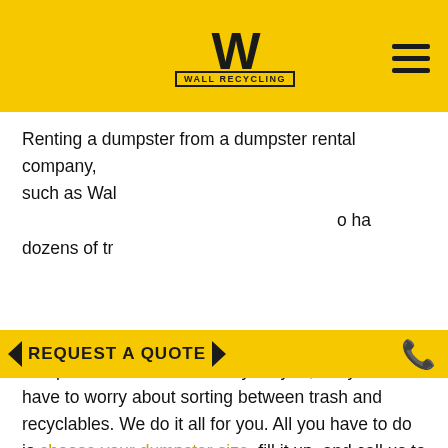[Figure (logo): Wall Recycling logo — large stylized W with 'WALL RECYCLING' text in a box underneath, on yellow background]
Renting a dumpster from a dumpster rental company, such as Wal[l Recycling], [allows you] o ha[ve] dozens of tr[ucks at your disposal.]
[Figure (infographic): REQUEST A QUOTE banner in yellow with left and right arrow decorations and a phone icon on the right]
At Wall Recycling, not only do we drop the dumpster off and haul it away for you, but you won't have to worry about sorting between trash and recyclables. We do it all for you. All you have to do is choose your dumpster size, fill it up, and call us to haul it away — all for one flat fee. Voilà, you have a clean home and a clear mind to start off the new year right!
Get started today with a 10, 15, 20, 30 or 40 yard dumpster from Wall Recycling. We service customers in Raleigh, Durham, Wilmington, Apex, Wilson, Greensboro,